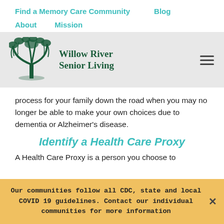Find a Memory Care Community   Blog
About   Mission
[Figure (logo): Willow River Senior Living logo with a green willow tree illustration on a grey background, with hamburger menu icon on the right]
process for your family down the road when you may no longer be able to make your own choices due to dementia or Alzheimer's disease.
Identify a Health Care Proxy
A Health Care Proxy is a person you choose to...
Our communities follow all CDC, state and local COVID 19 guidelines. Contact our individual communities for more information